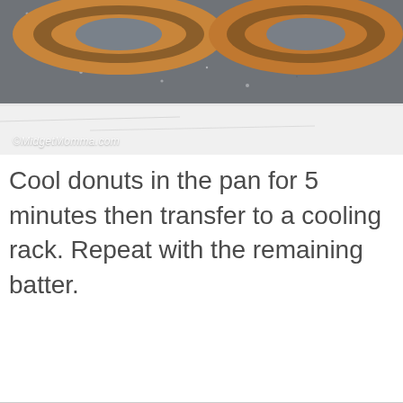[Figure (photo): Overhead view of baked donuts in a dark granite/speckled donut pan, with a white cloth or surface visible beneath. The donuts appear golden brown. A watermark reads '©MidgetMomma.com' in the lower left corner of the image.]
Cool donuts in the pan for 5 minutes then transfer to a cooling rack. Repeat with the remaining batter.